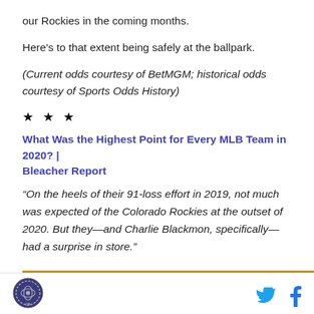our Rockies in the coming months.
Here’s to that extent being safely at the ballpark.
(Current odds courtesy of BetMGM; historical odds courtesy of Sports Odds History)
★ ★ ★
What Was the Highest Point for Every MLB Team in 2020? | Bleacher Report
“On the heels of their 91-loss effort in 2019, not much was expected of the Colorado Rockies at the outset of 2020. But they—and Charlie Blackmon, specifically—had a surprise in store.”
[logo] [twitter] [facebook]